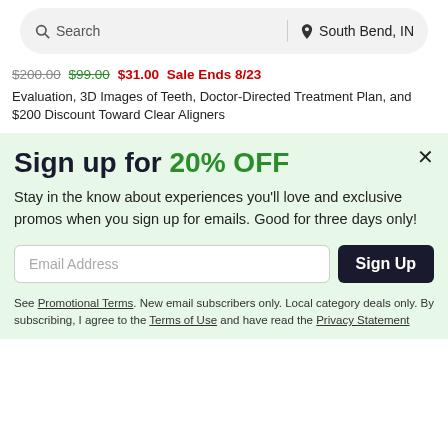[Figure (screenshot): Search bar with search icon and location 'South Bend, IN']
$200.00 $99.00 $31.00 Sale Ends 8/23
Evaluation, 3D Images of Teeth, Doctor-Directed Treatment Plan, and $200 Discount Toward Clear Aligners
Sign up for 20% OFF
Stay in the know about experiences you'll love and exclusive promos when you sign up for emails. Good for three days only!
Email Address
Sign Up
See Promotional Terms. New email subscribers only. Local category deals only. By subscribing, I agree to the Terms of Use and have read the Privacy Statement